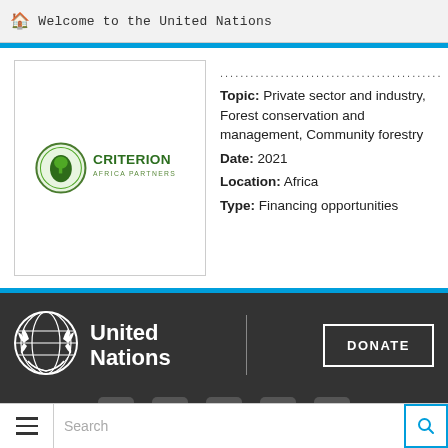Welcome to the United Nations
[Figure (logo): Criterion Africa Partners logo - green circle with Africa silhouette and tree, with company name text]
Topic: Private sector and industry, Forest conservation and management, Community forestry Date: 2021 Location: Africa Type: Financing opportunities
[Figure (logo): United Nations emblem in white on dark background, with text United Nations]
DONATE
Social media icons: Facebook, Twitter, YouTube, Flickr, Instagram